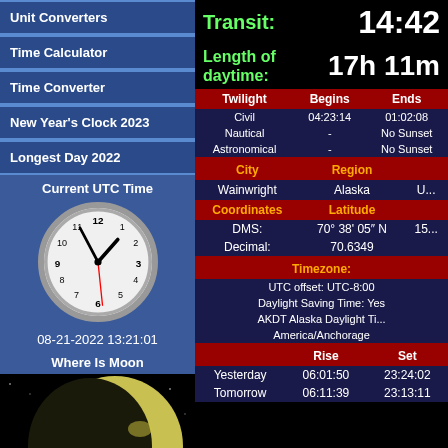Unit Converters
Time Calculator
Time Converter
New Year's Clock 2023
Longest Day 2022
Current UTC Time
[Figure (illustration): Analog clock face showing approximately 13:21, with clock hands pointing to hour ~1 and minute ~21. Date shown: 08-21-2022 13:21:01]
08-21-2022 13:21:01
Where Is Moon
[Figure (photo): Photo of crescent Moon with Earth visible in background against black space]
Transit: 14:42
Length of daytime: 17h 11m
| Twilight | Begins | Ends |
| --- | --- | --- |
| Civil | 04:23:14 | 01:02:08 |
| Nautical | - | No Sunset |
| Astronomical | - | No Sunset |
| City | Region |  |
| --- | --- | --- |
| Wainwright | Alaska | U... |
| Coordinates | Latitude |  |
| DMS: | 70° 38' 05" N | 15... |
| Decimal: | 70.6349 |  |
Timezone: UTC offset: UTC-8:00 Daylight Saving Time: Yes AKDT Alaska Daylight Time America/Anchorage
|  | Rise | Set |
| --- | --- | --- |
| Yesterday | 06:01:50 | 23:24:02 |
| Tomorrow | 06:11:39 | 23:13:11 |